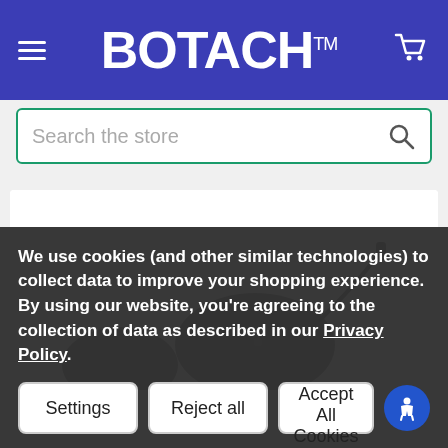BOTACH™
Search the store
[Figure (photo): Product photo of dark grey/charcoal earbuds/earpiece with cable, partially visible at bottom of image area]
We use cookies (and other similar technologies) to collect data to improve your shopping experience. By using our website, you're agreeing to the collection of data as described in our Privacy Policy.
Settings | Reject all | Accept All Cookies